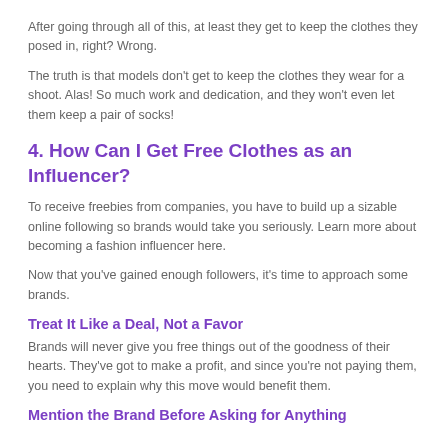After going through all of this, at least they get to keep the clothes they posed in, right? Wrong.
The truth is that models don't get to keep the clothes they wear for a shoot. Alas! So much work and dedication, and they won't even let them keep a pair of socks!
4. How Can I Get Free Clothes as an Influencer?
To receive freebies from companies, you have to build up a sizable online following so brands would take you seriously. Learn more about becoming a fashion influencer here.
Now that you've gained enough followers, it's time to approach some brands.
Treat It Like a Deal, Not a Favor
Brands will never give you free things out of the goodness of their hearts. They've got to make a profit, and since you're not paying them, you need to explain why this move would benefit them.
Mention the Brand Before Asking for Anything